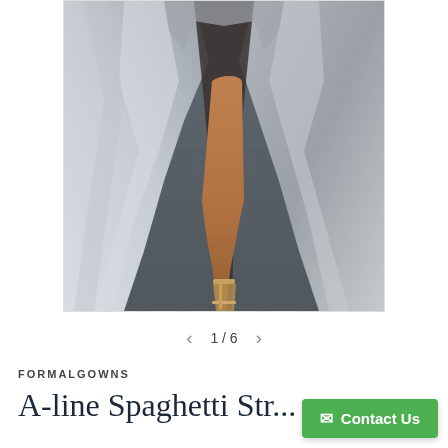[Figure (photo): Close-up photo of a silver/grey formal A-line gown with a high slit, showing the lower portion of the dress with a bare leg and gold strappy heeled sandal visible through the slit. The dress has a smooth satin-like fabric with voluminous folds. Background is a tiled outdoor patio area.]
< 1/6 >
FORMALGOWNS
A-line Spaghetti Str...